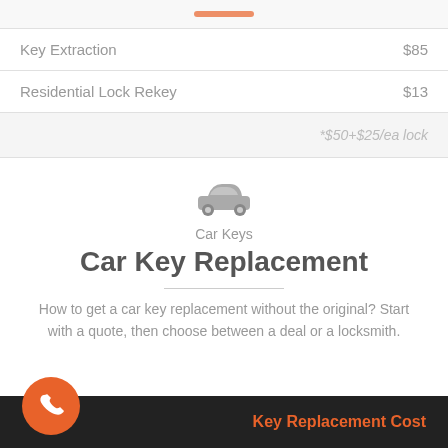| Service | Price |
| --- | --- |
| Key Extraction | $85 |
| Residential Lock Rekey | $13 |
|  | *$50+$25/ea lock |
[Figure (illustration): Car icon (front view silhouette in gray)]
Car Keys
Car Key Replacement
How to get a car key replacement without the original? Start with a quote, then choose between a deal or a locksmith.
[Figure (illustration): Orange circular phone call button]
Key Replacement Cost